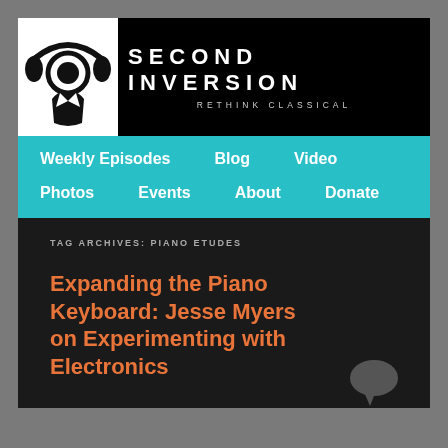[Figure (logo): Second Inversion website logo: headphones over a circle figure in a suit, black and white]
SECOND INVERSION
RETHINK CLASSICAL
Weekly Episodes  Blog  Video  Photos  Events  About  Donate
TAG ARCHIVES: PIANO ETUDES
Expanding the Piano Keyboard: Jesse Myers on Experimenting with Electronics